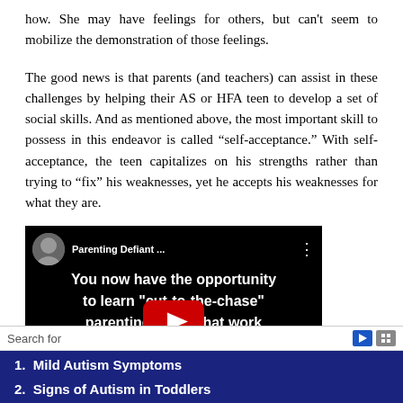how. She may have feelings for others, but can't seem to mobilize the demonstration of those feelings.
The good news is that parents (and teachers) can assist in these challenges by helping their AS or HFA teen to develop a set of social skills. And as mentioned above, the most important skill to possess in this endeavor is called “self-acceptance.” With self-acceptance, the teen capitalizes on his strengths rather than trying to “fix” his weaknesses, yet he accepts his weaknesses for what they are.
[Figure (screenshot): Embedded YouTube video thumbnail showing 'Parenting Defiant...' with text: 'You now have the opportunity to learn "cut-to-the-chase" parenting s...s that work immediately...her than...' with a red YouTube play button overlay and a circular avatar in the top left.]
1. Mild Autism Symptoms
2. Signs of Autism in Toddlers